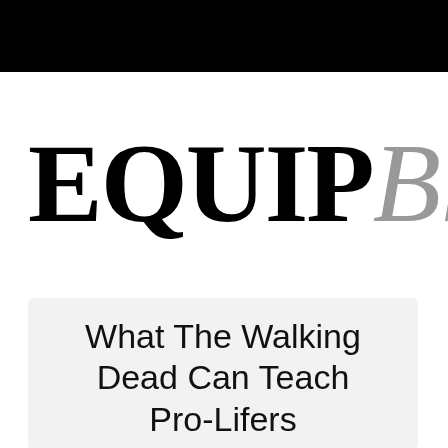[Figure (logo): EQUIP Blog logo — 'EQUIP' in large black serif font followed by 'Blog' in large grey italic serif font]
What The Walking Dead Can Teach Pro-Lifers